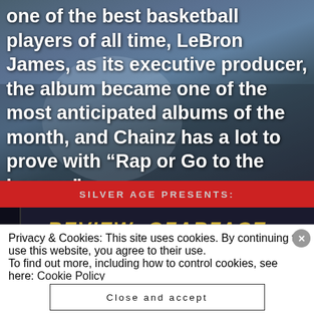[Figure (photo): Background photo of a person, partially visible, with blue/grey tones. Overlaid with large white bold text about LeBron James and Chainz album.]
one of the best basketball players of all time, LeBron James, as its executive producer, the album became one of the most anticipated albums of the month, and Chainz has a lot to prove with “Rap or Go to the League”.
[Figure (screenshot): Silver Age Presents banner (red background) with grey text, followed by a dark blue/gold section with REVIEW text partially visible.]
SILVER AGE PRESENTS:
REVIEW: OZARFACE
Privacy & Cookies: This site uses cookies. By continuing to use this website, you agree to their use.
To find out more, including how to control cookies, see here: Cookie Policy
Close and accept